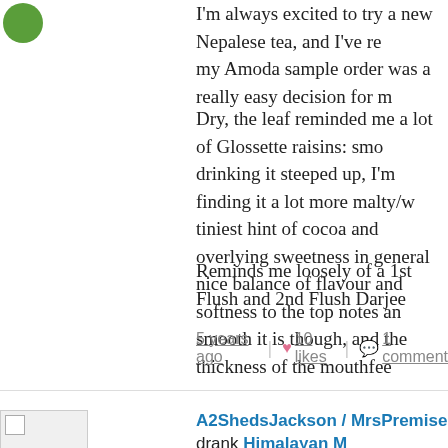I'm always excited to try a new Nepalese tea, and I've re... my Amoda sample order was a really easy decision for m...
Dry, the leaf reminded me a lot of Glossette raisins: smo... drinking it steeped up, I'm finding it a lot more malty/w... tiniest hint of cocoa and overlying sweetness in general... nice balance of flavour and softness to the top notes an... smooth it is though, and the thickness of the mouthfee...
Reminds me loosely of a 1st Flush and 2nd Flush Darjee...
5 years ago | ♥ 10 likes | 💬 1 comment
[Figure (photo): Avatar placeholder image with broken image icon for A2ShedsJackson / MrsPremise reviewer]
A2ShedsJackson / MrsPremise drank Himalayan M...
See my full review on Sororitea Sisters:
http://sororiteasisters.com/2017/06/16/himalayan-mu...
Flavors: Chocolate, Dark Chocolate, Earth, Floral, Red W...